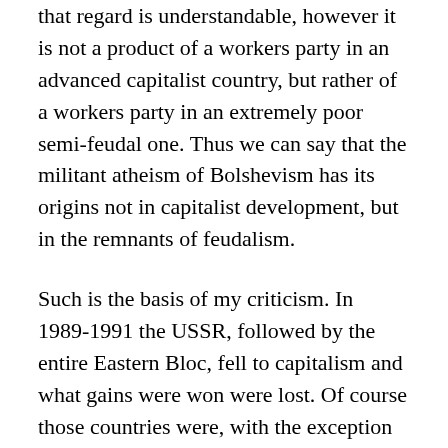that regard is understandable, however it is not a product of a workers party in an advanced capitalist country, but rather of a workers party in an extremely poor semi-feudal one. Thus we can say that the militant atheism of Bolshevism has its origins not in capitalist development, but in the remnants of feudalism.
Such is the basis of my criticism. In 1989-1991 the USSR, followed by the entire Eastern Bloc, fell to capitalism and what gains were won were lost. Of course those countries were, with the exception of the USSR, at that time totalitarian dictatorships.
Religious persecution was one of the major reasons for the “fall of communism”, however it was not in